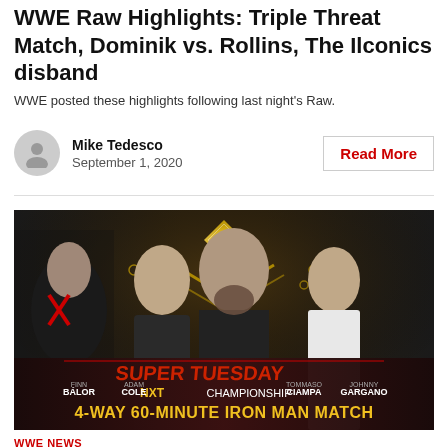WWE Raw Highlights: Triple Threat Match, Dominik vs. Rollins, The Ilconics disband
WWE posted these highlights following last night's Raw.
Mike Tedesco
September 1, 2020
Read More
[Figure (photo): WWE NXT Super Tuesday promotional image showing Finn Balor, Adam Cole, Tommaso Ciampa, and Johnny Gargano for a 4-Way 60-Minute Iron Man Match NXT Championship]
WWE NEWS